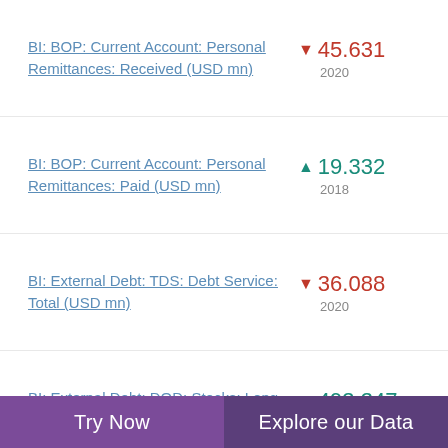BI: BOP: Current Account: Personal Remittances: Received (USD mn)
BI: BOP: Current Account: Personal Remittances: Paid (USD mn)
BI: External Debt: TDS: Debt Service: Total (USD mn)
BI: External Debt: DOD: Stocks: Long-Term (USD mn)
Try Now | Explore our Data